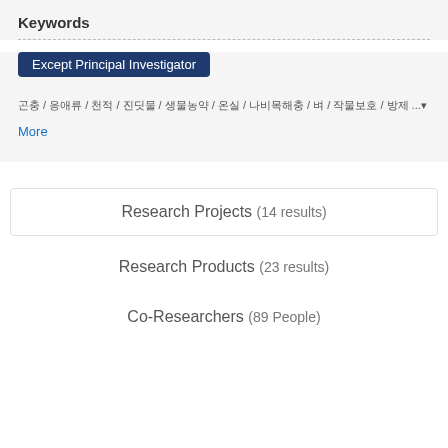Keywords
Except Principal Investigator
곤충 / 응애류 / 천적 / 진딧물 / 생물농약 / 온실 / 나비목해충 / 벼 / 작물보호 / 방제 ...
More
Research Projects (14 results)
Research Products (23 results)
Co-Researchers (89 People)